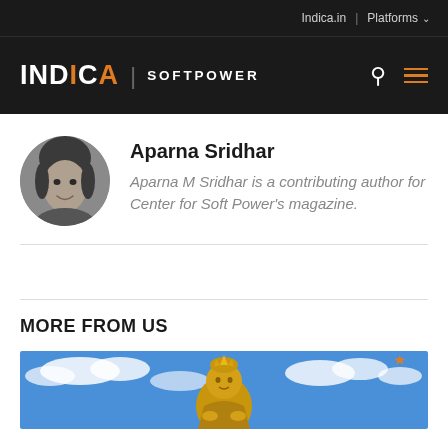Indica.in | Platforms
INDICA | SOFTPOWER
[Figure (photo): Circular grayscale portrait photo of Aparna Sridhar, a woman with dark hair, smiling]
Aparna Sridhar
Aparna M Sridhar is a contributing author for Center for Soft Power's magazine.
MORE FROM US
[Figure (photo): A large golden Buddha statue against a blue sky with clouds]